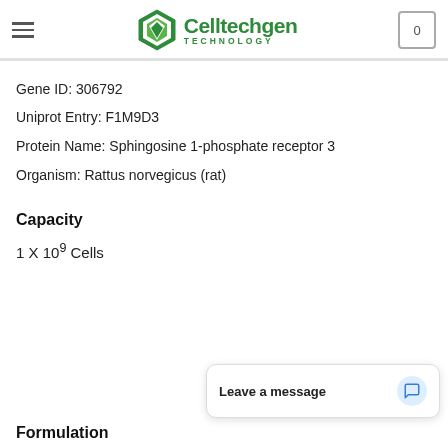Celltechgen Technology
Gene ID: 306792
Uniprot Entry: F1M9D3
Protein Name: Sphingosine 1-phosphate receptor 3
Organism: Rattus norvegicus (rat)
Capacity
1 X 10⁹ Cells
Formulation
Leave a message